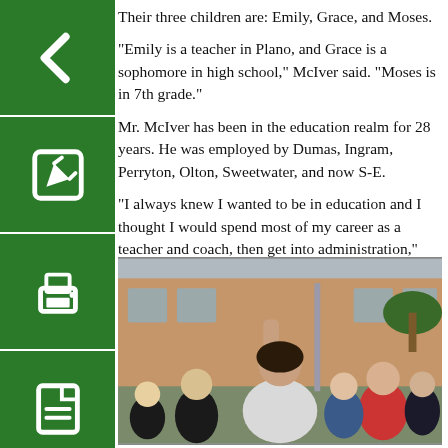Their three children are: Emily, Grace, and Moses.
"Emily is a teacher in Plano, and Grace is a sophomore in high school," McIver said. "Moses is in 7th grade."
Mr. McIver has been in the education realm for 28 years. He was employed by Dumas, Ingram, Perryton, Olton, Sweetwater, and now S-E.
"I always knew I wanted to be in education and I thought I would spend most of my career as a teacher and coach, then get into administration," McIver said. "Instead, I spent 2 years teaching and 2 years teaching and coaching, then I got into administration."
[Figure (photo): A woman with her fist raised leading a group of excited children outdoors in front of a brick school building.]